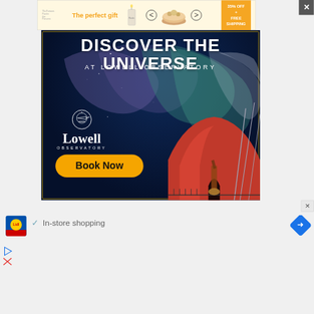[Figure (infographic): Top banner advertisement: 'The perfect gift' with candle/perfume imagery, navigation arrows, food bowl image, and '35% OFF + FREE SHIPPING' offer. Close X button top right.]
[Figure (illustration): Lowell Observatory advertisement with dark space background, aurora/nebula swirls in purple/green/teal, observatory dome building illustration on right, Lowell Observatory logo with telescope icon on left, 'DISCOVER THE UNIVERSE AT LOWELL OBSERVATORY' headline, and 'Book Now' orange button.]
[Figure (logo): Lidl store logo (blue square with red bottom stripe and yellow circle with 'Lidl' text)]
✓ In-store shopping
[Figure (infographic): Blue diamond-shaped navigation arrow icon on right side]
[Figure (infographic): Blue play button triangle icon bottom left]
[Figure (infographic): Red X icon bottom left below play button]